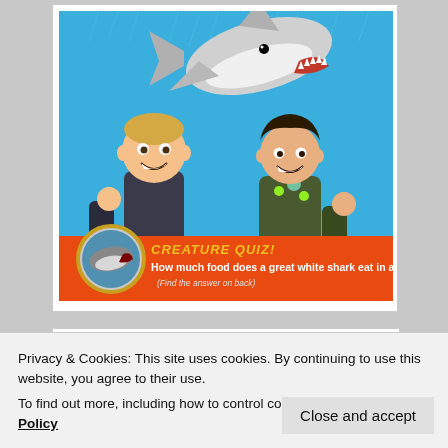[Figure (illustration): Wild Kratts animated cartoon book cover showing two animated characters in diving suits giving thumbs up, with a large great white shark above them on a blue ocean background. Bottom section has an orange banner reading 'CREATURE QUIZ! How much food does a great white shark eat in a year? (Find the answer on back)' with a circular inset photo of a real shark.]
Privacy & Cookies: This site uses cookies. By continuing to use this website, you agree to their use.
To find out more, including how to control cookies, see here: Cookie Policy
Close and accept